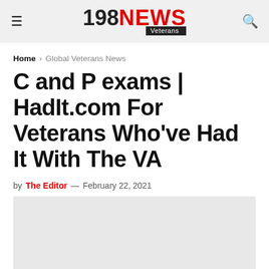198 Veterans NEWS
Home > Global Veterans News
C and P exams | HadIt.com For Veterans Who've Had It With The VA
by The Editor — February 22, 2021
[Figure (photo): Article image placeholder (light gray box)]